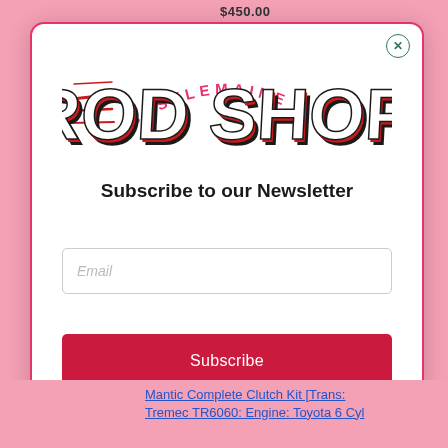$450.00
[Figure (logo): Castlemaine Rod Shop logo — bold graffiti-style text 'ROD SHOP' in white with red and black shadow/outline, with 'CASTLEMAINE' in red arc above, speed lines on left]
Subscribe to our Newsletter
Email
Subscribe
Mantic Complete Clutch Kit [Trans: Tremec TR6060: Engine: Toyota 6 Cyl